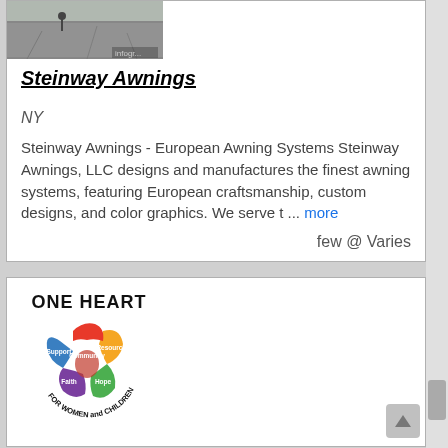[Figure (photo): Pavement/road surface photo with infogr watermark at bottom right]
Steinway Awnings
NY
Steinway Awnings - European Awning Systems Steinway Awnings, LLC designs and manufactures the finest awning systems, featuring European craftsmanship, custom designs, and color graphics. We serve t ... more
few @ Varies
[Figure (logo): One Heart for Women and Children logo — colorful puzzle-piece heart with Support, Resources, Community, Faith, Hope labels, surrounded by text 'ONE HEART FOR WOMEN and CHILDREN']